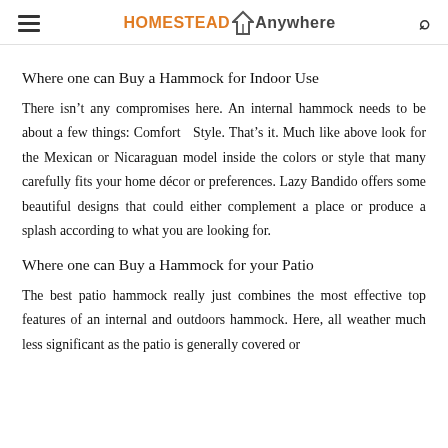HOMESTEAD Anywhere
Where one can Buy a Hammock for Indoor Use
There isn’t any compromises here. An internal hammock needs to be about a few things: Comfort   Style. That’s it. Much like above look for the Mexican or Nicaraguan model inside the colors or style that many carefully fits your home décor or preferences. Lazy Bandido offers some beautiful designs that could either complement a place or produce a splash according to what you are looking for.
Where one can Buy a Hammock for your Patio
The best patio hammock really just combines the most effective top features of an internal and outdoors hammock. Here, all weather much less significant as the patio is generally covered or